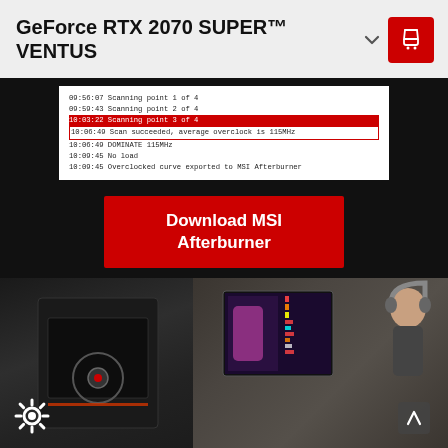GeForce RTX 2070 SUPER™ VENTUS
[Figure (screenshot): MSI Afterburner log output showing scanning points and overclock success message with red highlighted line]
Download MSI Afterburner
[Figure (photo): Gaming setup photo showing a PC case interior with GPU on the left and a person wearing headphones looking at a gaming monitor on the right]